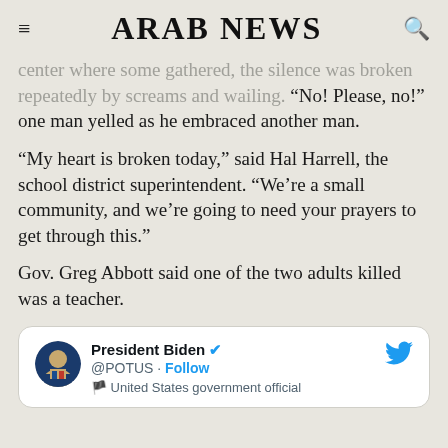ARAB NEWS
center where some gathered, the silence was broken repeatedly by screams and wailing. “No! Please, no!” one man yelled as he embraced another man.
“My heart is broken today,” said Hal Harrell, the school district superintendent. “We’re a small community, and we’re going to need your prayers to get through this.”
Gov. Greg Abbott said one of the two adults killed was a teacher.
[Figure (screenshot): Embedded tweet from @POTUS (President Biden) with verified badge, Follow button, and United States government official label]